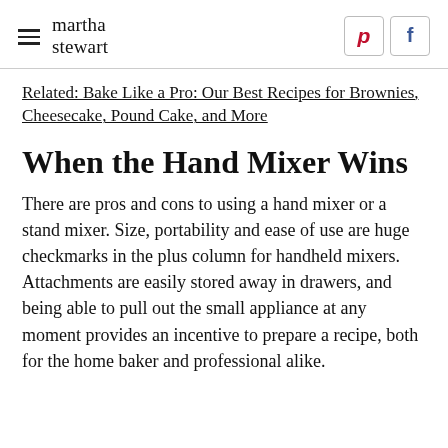martha stewart
Related: Bake Like a Pro: Our Best Recipes for Brownies, Cheesecake, Pound Cake, and More
When the Hand Mixer Wins
There are pros and cons to using a hand mixer or a stand mixer. Size, portability and ease of use are huge checkmarks in the plus column for handheld mixers. Attachments are easily stored away in drawers, and being able to pull out the small appliance at any moment provides an incentive to prepare a recipe, both for the home baker and professional alike.